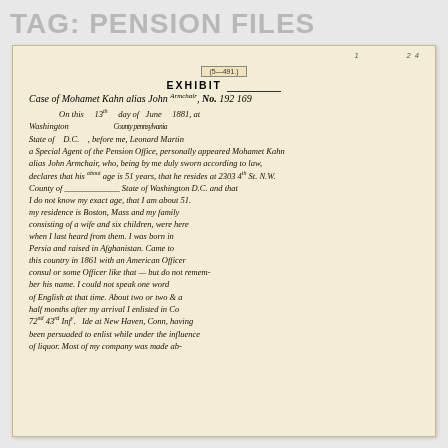TAG: PENSION FILES
[Figure (photo): Scanned handwritten document on aged yellowed paper. Headed 'EXHIBIT' with 'Case of Mohamet Kahn alias John Armchair, No. 192 169'. The document is a pension file exhibit dated the 13th day of June 1881, at Washington, State of D.C., before Leonard Martin, a Special Agent of the Pension Office. The handwritten text describes the claimant's background including origins in Persia, raised in Afghanistan, came to the country in 1861, enlisted in Co 72nd 43rd Infantry at New Haven, Conn., and discusses his family in Boston, Mass.]